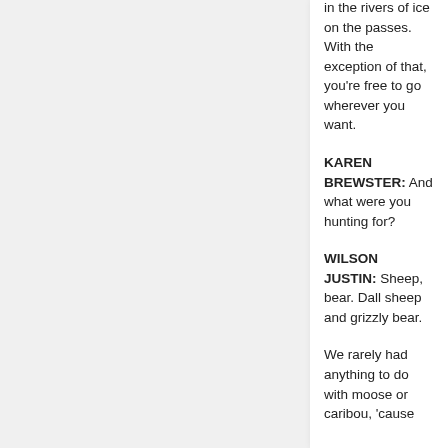in the rivers of ice on the passes. With the exception of that, you're free to go wherever you want.
KAREN BREWSTER: And what were you hunting for?
WILSON JUSTIN: Sheep, bear. Dall sheep and grizzly bear.
We rarely had anything to do with moose or caribou, 'cause